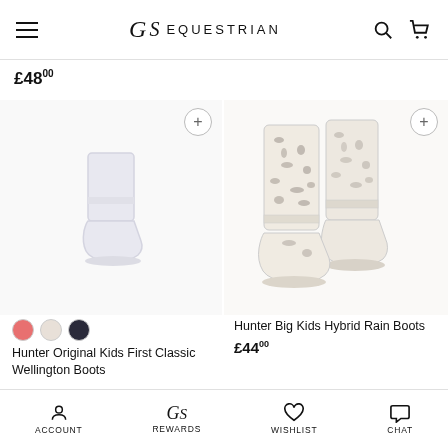GS EQUESTRIAN
£48.00
[Figure (photo): Hunter Original Kids First Classic Wellington Boots in light grey/white color - single boot displayed]
Hunter Original Kids First Classic Wellington Boots
[Figure (photo): Hunter Big Kids Hybrid Rain Boots with leopard print pattern in cream/light color - pair of boots displayed]
Hunter Big Kids Hybrid Rain Boots
£44.00
ACCOUNT  REWARDS  WISHLIST  CHAT